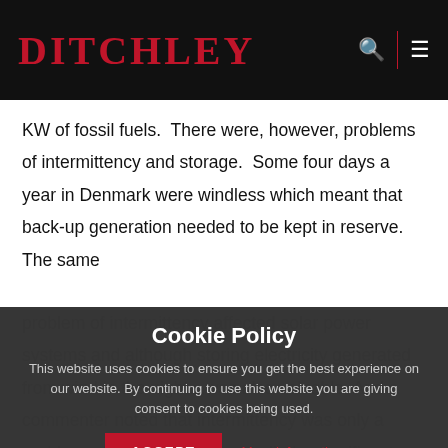DITCHLEY
KW of fossil fuels.  There were, however, problems of intermittency and storage.  Some four days a year in Denmark were windless which meant that back-up generation needed to be kept in reserve.  The same problem of intermittency affected solar power systems and although storing electricity generated from wind in the night…was also valuable. And a commenter noted that intermittency was only a problem when renewables supplied a significant proportion of total electricity requirement.
Cookie Policy
This website uses cookies to ensure you get the best experience on our website. By continuing to use this website you are giving consent to cookies being used.
ACCEPT
More information